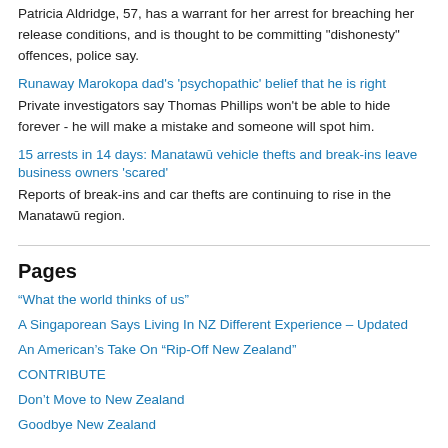Patricia Aldridge, 57, has a warrant for her arrest for breaching her release conditions, and is thought to be committing "dishonesty" offences, police say.
Runaway Marokopa dad's 'psychopathic' belief that he is right
Private investigators say Thomas Phillips won't be able to hide forever - he will make a mistake and someone will spot him.
15 arrests in 14 days: Manawatū vehicle thefts and break-ins leave business owners 'scared'
Reports of break-ins and car thefts are continuing to rise in the Manawatū region.
Pages
“What the world thinks of us”
A Singaporean Says Living In NZ Different Experience – Updated
An American’s Take On “Rip-Off New Zealand”
CONTRIBUTE
Don’t Move to New Zealand
Goodbye New Zealand